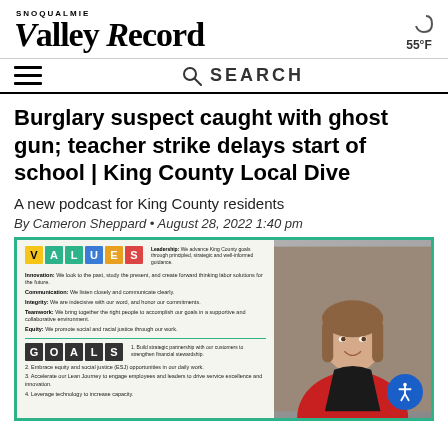SNOQUALMIE VALLEY RECORD
55°F
Burglary suspect caught with ghost gun; teacher strike delays start of school | King County Local Dive
A new podcast for King County residents
By Cameron Sheppard • August 28, 2022 1:40 pm
[Figure (photo): Woman smiling in front of a VALUES and GOALS poster board at what appears to be a King County government or labor organization office]